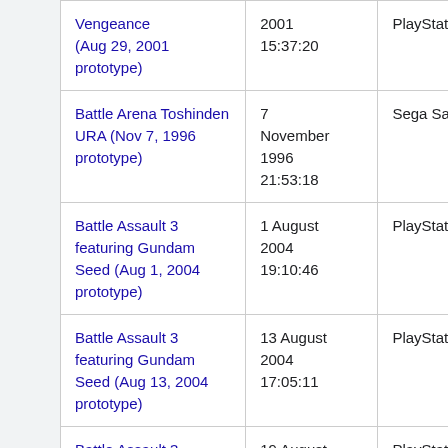| Game | Date | Platform |
| --- | --- | --- |
| Vengeance (Aug 29, 2001 prototype) | 2001
15:37:20 | PlayStation 2 |
| Battle Arena Toshinden URA (Nov 7, 1996 prototype) | 7 November 1996
21:53:18 | Sega Saturn |
| Battle Assault 3 featuring Gundam Seed (Aug 1, 2004 prototype) | 1 August 2004
19:10:46 | PlayStation 2 |
| Battle Assault 3 featuring Gundam Seed (Aug 13, 2004 prototype) | 13 August 2004
17:05:11 | PlayStation 2 |
| Battle Assault 3 featuring | 19 August | PlayStation |